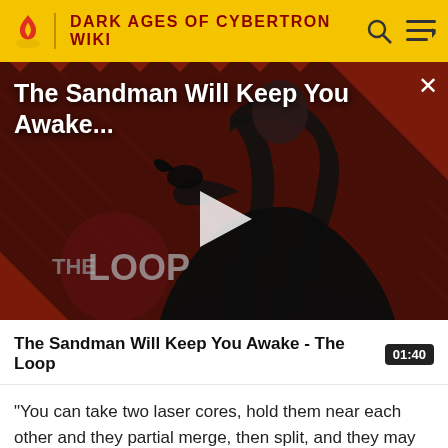DARK AGES OF CYBERTRON WIKI
[Figure (screenshot): Video thumbnail showing a dark-cloaked figure against a red-and-black diagonal striped background with 'THE LOOP' logo overlay and a play button. Title overlay reads 'The Sandman Will Keep You Awake...' with an X close button.]
The Sandman Will Keep You Awake - The Loop
"You can take two laser cores, hold them near each other and they partial merge, then split, and they may form a third one. that is the most basic way."